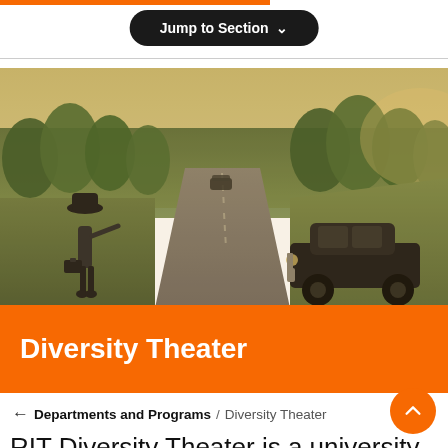[Figure (screenshot): Navigation button labeled 'Jump to Section' with chevron, on a dark pill-shaped button]
[Figure (photo): A man in a hat and suit holding a suitcase, standing on a rural road hitchhiking, with a vintage black automobile stopped nearby and trees lining the road in the background. Warm golden light.]
Diversity Theater
← Departments and Programs / Diversity Theater
RIT Diversity Theater is a university